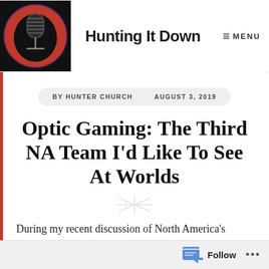Hunting It Down
BY HUNTER CHURCH   AUGUST 3, 2019
Optic Gaming: The Third NA Team I'd Like To See At Worlds
During my recent discussion of North America's World prospects, I began to think
Follow